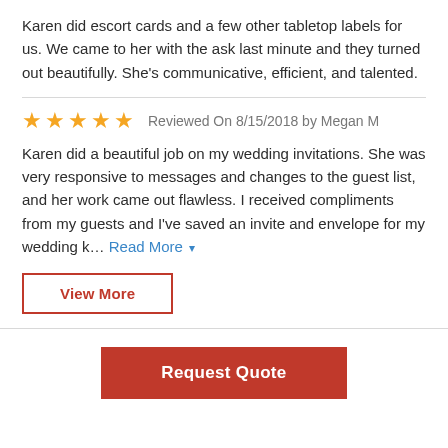Karen did escort cards and a few other tabletop labels for us. We came to her with the ask last minute and they turned out beautifully. She's communicative, efficient, and talented.
Reviewed On 8/15/2018 by Megan M
Karen did a beautiful job on my wedding invitations. She was very responsive to messages and changes to the guest list, and her work came out flawless. I received compliments from my guests and I've saved an invite and envelope for my wedding k... Read More
View More
Request Quote